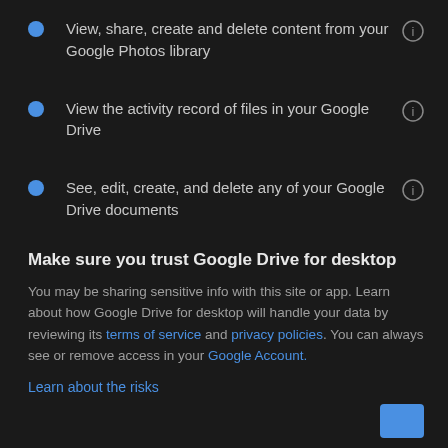View, share, create and delete content from your Google Photos library
View the activity record of files in your Google Drive
See, edit, create, and delete any of your Google Drive documents
Make sure you trust Google Drive for desktop
You may be sharing sensitive info with this site or app. Learn about how Google Drive for desktop will handle your data by reviewing its terms of service and privacy policies. You can always see or remove access in your Google Account.
Learn about the risks